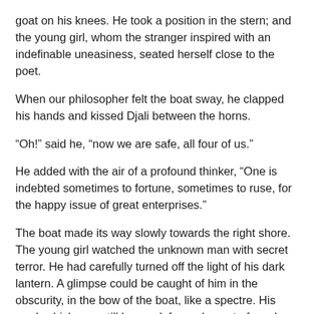goat on his knees. He took a position in the stern; and the young girl, whom the stranger inspired with an indefinable uneasiness, seated herself close to the poet.
When our philosopher felt the boat sway, he clapped his hands and kissed Djali between the horns.
“Oh!” said he, “now we are safe, all four of us.”
He added with the air of a profound thinker, “One is indebted sometimes to fortune, sometimes to ruse, for the happy issue of great enterprises.”
The boat made its way slowly towards the right shore. The young girl watched the unknown man with secret terror. He had carefully turned off the light of his dark lantern. A glimpse could be caught of him in the obscurity, in the bow of the boat, like a spectre. His cowl, which was still lowered, formed a sort of mask; and every time that he spread his arms, upon which hung large black sleeves, as he rowed, one would have said they were two huge bat’s wings. Moreover, he had not yet uttered a word or breathed a syllable. No other noise was heard in the boat than the splashing of the oars, mingled